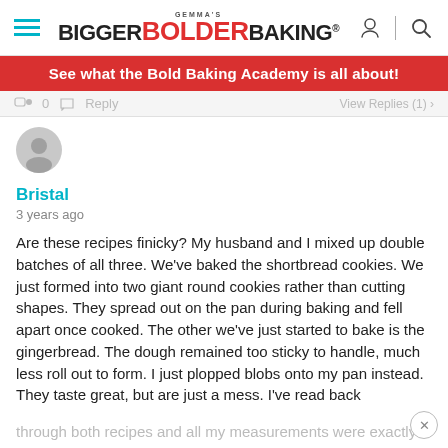Gemma's Bigger Bolder Baking
See what the Bold Baking Academy is all about!
0  Reply  View Replies (1)
[Figure (illustration): User avatar circle icon placeholder]
Bristal
3 years ago
Are these recipes finicky? My husband and I mixed up double batches of all three. We've baked the shortbread cookies. We just formed into two giant round cookies rather than cutting shapes. They spread out on the pan during baking and fell apart once cooked. The other we've just started to bake is the gingerbread. The dough remained too sticky to handle, much less roll out to form. I just plopped blobs onto my pan instead. They taste great, but are just a mess. I've read back through both recipes and all my measurements were exactly double, except I did... Read more »